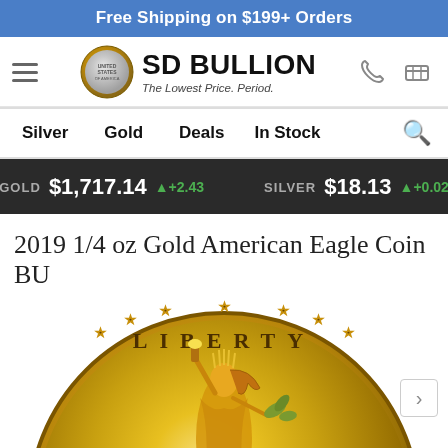Free Shipping on $199+ Orders
[Figure (logo): SD Bullion logo with coin image and tagline 'The Lowest Price. Period.']
Silver  Gold  Deals  In Stock
GOLD $1,717.14 +2.43   SILVER $18.13 +0.02
2019 1/4 oz Gold American Eagle Coin BU
[Figure (photo): Gold American Eagle coin showing Lady Liberty with torch and olive branch, inscribed with LIBERTY at top]